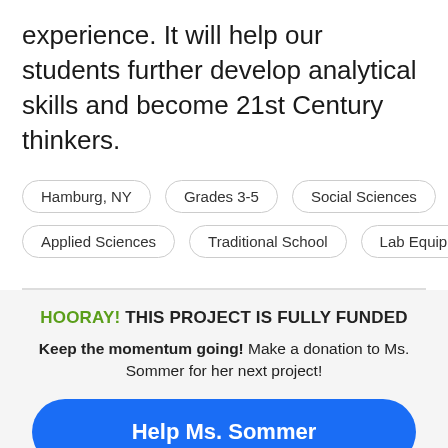experience. It will help our students further develop analytical skills and become 21st Century thinkers.
Hamburg, NY
Grades 3-5
Social Sciences
Applied Sciences
Traditional School
Lab Equipment
HOORAY! THIS PROJECT IS FULLY FUNDED
Keep the momentum going! Make a donation to Ms. Sommer for her next project!
Help Ms. Sommer